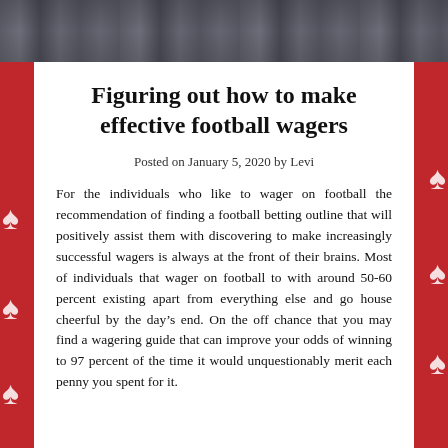[Figure (photo): A dark photo strip at the top showing a crowd of people walking on a street, silhouetted against a bright urban background.]
Figuring out how to make effective football wagers
Posted on January 5, 2020 by Levi
For the individuals who like to wager on football the recommendation of finding a football betting outline that will positively assist them with discovering to make increasingly successful wagers is always at the front of their brains. Most of individuals that wager on football to with around 50-60 percent existing apart from everything else and go house cheerful by the day’s end. On the off chance that you may find a wagering guide that can improve your odds of winning to 97 percent of the time it would unquestionably merit each penny you spent for it.